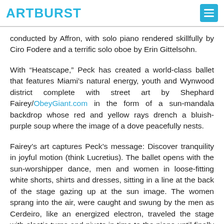ARTBURST
conducted by Affron, with solo piano rendered skillfully by Ciro Fodere and a terrific solo oboe by Erin Gittelsohn.
With “Heatscape,” Peck has created a world-class ballet that features Miami’s natural energy, youth and Wynwood district complete with street art by Shephard Fairey/ObeyGiant.com in the form of a sun-mandala backdrop whose red and yellow rays drench a bluish-purple soup where the image of a dove peacefully nests.
Fairey’s art captures Peck’s message: Discover tranquility in joyful motion (think Lucretius). The ballet opens with the sun-worshipper dance, men and women in loose-fitting white shorts, shirts and dresses, sitting in a line at the back of the stage gazing up at the sun image. The women sprang into the air, were caught and swung by the men as Cerdeiro, like an energized electron, traveled the stage with elastic turns and pivots in time to the piano until finally hooking up with Emily Bromberg for their electrifying pas de deux.